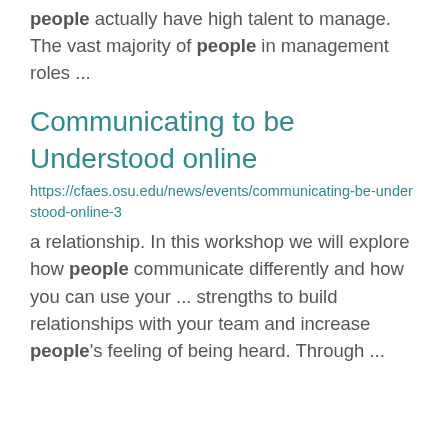people actually have high talent to manage. The vast majority of people in management roles ...
Communicating to be Understood online
https://cfaes.osu.edu/news/events/communicating-be-understood-online-3
a relationship. In this workshop we will explore how people communicate differently and how you can use your ... strengths to build relationships with your team and increase people's feeling of being heard. Through ...